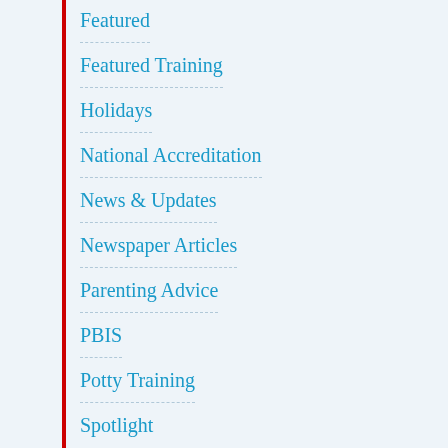Featured
Featured Training
Holidays
National Accreditation
News & Updates
Newspaper Articles
Parenting Advice
PBIS
Potty Training
Spotlight